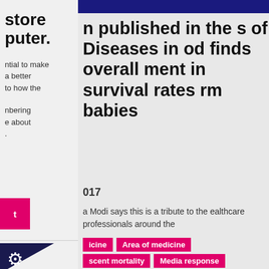store
puter.
ntial to make
a better
to how the
nbering
e about
.
n published in the s of Diseases in od finds overall ment in survival rates rm babies
017
a Modi says this is a tribute to the ealthcare professionals around the
icine
Area of medicine
scent mortality
Media response